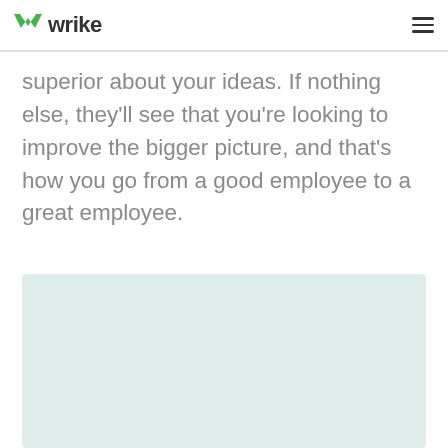wrike
superior about your ideas. If nothing else, they'll see that you're looking to improve the bigger picture, and that's how you go from a good employee to a great employee.
[Figure (other): Light teal/mint colored rectangular placeholder box]